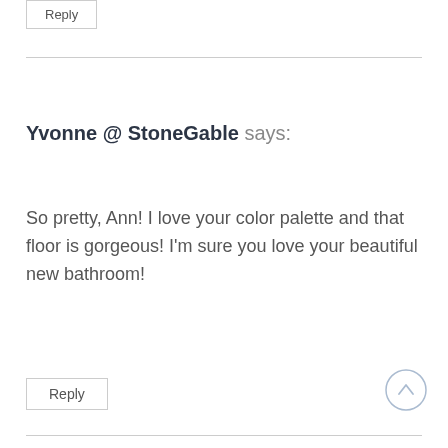Reply
Yvonne @ StoneGable says:
So pretty, Ann! I love your color palette and that floor is gorgeous! I'm sure you love your beautiful new bathroom!
Reply
Diane M Wicks says: